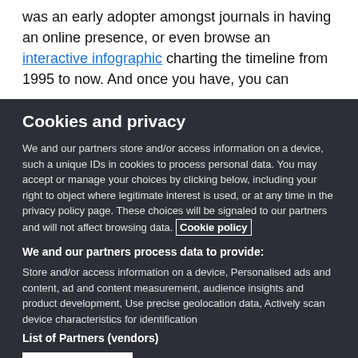was an early adopter amongst journals in having an online presence, or even browse an interactive infographic charting the timeline from 1995 to now. And once you have, you can
Cookies and privacy
We and our partners store and/or access information on a device, such a unique IDs in cookies to process personal data. You may accept or manage your choices by clicking below, including your right to object where legitimate interest is used, or at any time in the privacy policy page. These choices will be signaled to our partners and will not affect browsing data. Cookie policy
We and our partners process data to provide:
Store and/or access information on a device, Personalised ads and content, ad and content measurement, audience insights and product development, Use precise geolocation data, Actively scan device characteristics for identification
List of Partners (vendors)
I Accept